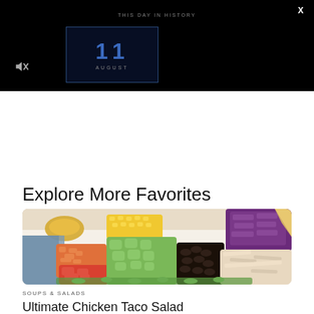[Figure (screenshot): Dark video banner showing 'THIS DAY IN HISTORY' with a calendar showing '11 AUGUST' in blue on a dark background, mute icon bottom left, X close button top right]
Explore More Favorites
[Figure (photo): Overhead photo of a colorful chicken taco salad bowl with diced tomatoes, carrots, avocado, corn, black beans, shredded chicken, and purple cabbage]
SOUPS & SALADS
Ultimate Chicken Taco Salad